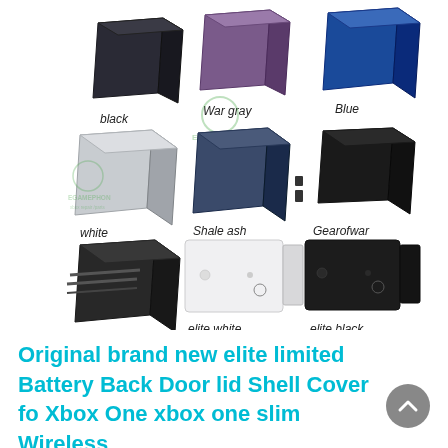[Figure (photo): Nine Xbox One wireless controller battery back door lid shell covers displayed in a 3x3 grid arrangement showing different color variants: black, War gray, Blue (top row); white, Shale ash, Gearofwar (middle row); Battlefield, elite white, elite black (bottom row). EGAMEPHONE watermark visible on multiple items.]
Original brand new elite limited Battery Back Door lid Shell Cover fo Xbox One xbox one slim Wireless